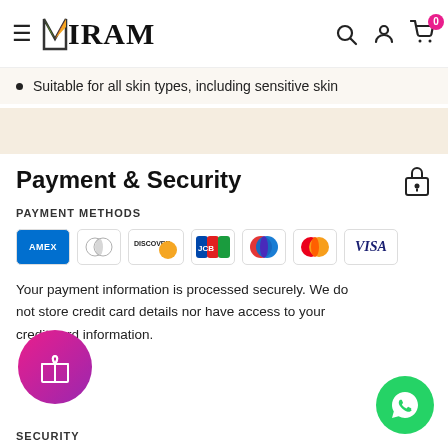NIRAM
Suitable for all skin types, including sensitive skin
Payment & Security
PAYMENT METHODS
[Figure (other): Payment method icons: Amex, Diners Club, Discover, JCB, Maestro, Mastercard, Visa]
Your payment information is processed securely. We do not store credit card details nor have access to your credit card information.
SECURITY